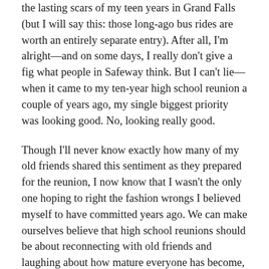the lasting scars of my teen years in Grand Falls (but I will say this: those long-ago bus rides are worth an entirely separate entry). After all, I'm alright—and on some days, I really don't give a fig what people in Safeway think. But I can't lie—when it came to my ten-year high school reunion a couple of years ago, my single biggest priority was looking good. No, looking really good.
Though I'll never know exactly how many of my old friends shared this sentiment as they prepared for the reunion, I now know that I wasn't the only one hoping to right the fashion wrongs I believed myself to have committed years ago. We can make ourselves believe that high school reunions should be about reconnecting with old friends and laughing about how mature everyone has become, but we all know that at these events, talk of marriage and kids is a boring wash (unless, of course, these topics can be followed with the words